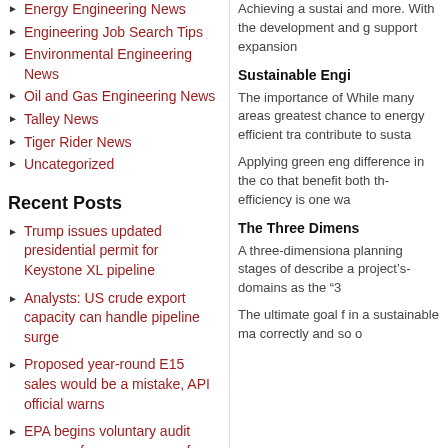Energy Engineering News
Engineering Job Search Tips
Environmental Engineering News
Oil and Gas Engineering News
Talley News
Tiger Rider News
Uncategorized
Recent Posts
Trump issues updated presidential permit for Keystone XL pipeline
Analysts: US crude export capacity can handle pipeline surge
Proposed year-round E15 sales would be a mistake, API official warns
EPA begins voluntary audit program for new owners of upstream assets
Gazprom to acquire Kyrgyzneftegaz assets
Archives
March 2019
February 2019
Achieving a sustai... and more. With the development and g... support expansion...
Sustainable Engi...
The importance of... While many areas greatest chance to... energy efficient tra... contribute to susta...
Applying green eng... difference in the co... that benefit both th... efficiency is one wa...
The Three Dimens...
A three-dimensiona... planning stages of... describe a project's... domains as the "3...
The ultimate goal f... in a sustainable ma... correctly and so o...